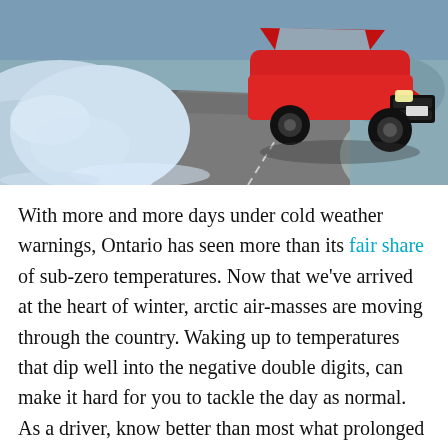[Figure (photo): A red sports car driving on a snowy winter road, with large snow banks on the left side and rocky terrain on the right. The scene depicts cold winter driving conditions.]
With more and more days under cold weather warnings, Ontario has seen more than its fair share of sub-zero temperatures. Now that we've arrived at the heart of winter, arctic air-masses are moving through the country. Waking up to temperatures that dip well into the negative double digits, can make it hard for you to tackle the day as normal. As a driver, know better than most what prolonged cold weather can do to your vehicle. When winter has gripped the country in a deep freeze, your battery is just as susceptible to